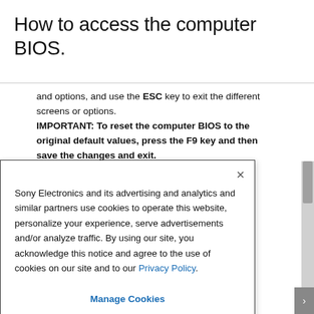How to access the computer BIOS.
and options, and use the ESC key to exit the different screens or options. IMPORTANT: To reset the computer BIOS to the original default values, press the F9 key and then save the changes and exit.
[Figure (screenshot): Cookie consent modal dialog from Sony Electronics website with close button (×), cookie policy text referencing Privacy Policy link, and a 'Manage Cookies' button at the bottom.]